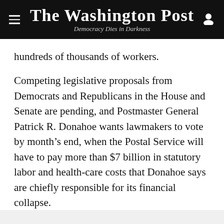The Washington Post — Democracy Dies in Darkness
hundreds of thousands of workers.
Competing legislative proposals from Democrats and Republicans in the House and Senate are pending, and Postmaster General Patrick R. Donahoe wants lawmakers to vote by month's end, when the Postal Service will have to pay more than $7 billion in statutory labor and health-care costs that Donahoe says are chiefly responsible for its financial collapse.